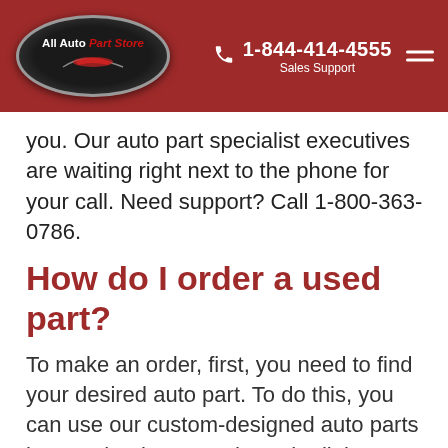[Figure (logo): All Auto Part Store logo — oval black badge with car silhouette, white text 'All Auto' and red italic 'Part Store']
1-844-414-4555 Sales Support
you. Our auto part specialist executives are waiting right next to the phone for your call. Need support? Call 1-800-363-0786.
How do I order a used part?
To make an order, first, you need to find your desired auto part. To do this, you can use our custom-designed auto parts locator that browses through all the junkyards across the country. All you need to do is fill in the car details, such as year, make, model, etc. and press the search button.